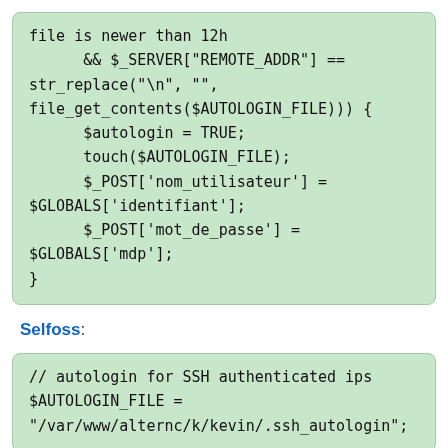file is newer than 12h
      && $_SERVER["REMOTE_ADDR"] ==
str_replace("\n", "",
file_get_contents($AUTOLOGIN_FILE))) {
      $autologin = TRUE;
      touch($AUTOLOGIN_FILE);
      $_POST['nom_utilisateur'] =
$GLOBALS['identifiant'];
      $_POST['mot_de_passe'] =
$GLOBALS['mdp'];
}
Selfoss:
// autologin for SSH authenticated ips
$AUTOLOGIN_FILE =
"/var/www/alternc/k/kevin/.ssh_autologin";